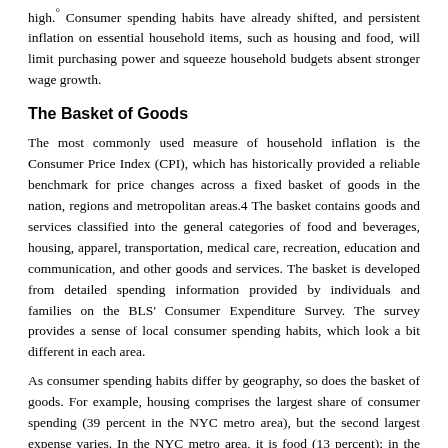high.° Consumer spending habits have already shifted, and persistent inflation on essential household items, such as housing and food, will limit purchasing power and squeeze household budgets absent stronger wage growth.
The Basket of Goods
The most commonly used measure of household inflation is the Consumer Price Index (CPI), which has historically provided a reliable benchmark for price changes across a fixed basket of goods in the nation, regions and metropolitan areas.4 The basket contains goods and services classified into the general categories of food and beverages, housing, apparel, transportation, medical care, recreation, education and communication, and other goods and services. The basket is developed from detailed spending information provided by individuals and families on the BLS' Consumer Expenditure Survey. The survey provides a sense of local consumer spending habits, which look a bit different in each area.
As consumer spending habits differ by geography, so does the basket of goods. For example, housing comprises the largest share of consumer spending (39 percent in the NYC metro area), but the second largest expense varies. In the NYC metro area, it is food (13 percent); in the Los Angeles metro area, it is transportation (16